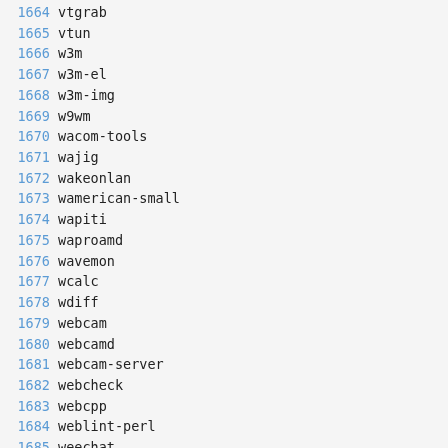1664 vtgrab
1665 vtun
1666 w3m
1667 w3m-el
1668 w3m-img
1669 w9wm
1670 wacom-tools
1671 wajig
1672 wakeonlan
1673 wamerican-small
1674 wapiti
1675 waproamd
1676 wavemon
1677 wcalc
1678 wdiff
1679 webcam
1680 webcamd
1681 webcam-server
1682 webcheck
1683 webcpp
1684 weblint-perl
1685 weechat
1686 weechat-curses
1687 weechat-plugins
1688 weechat-scripts
1689 weplab
1690 writ